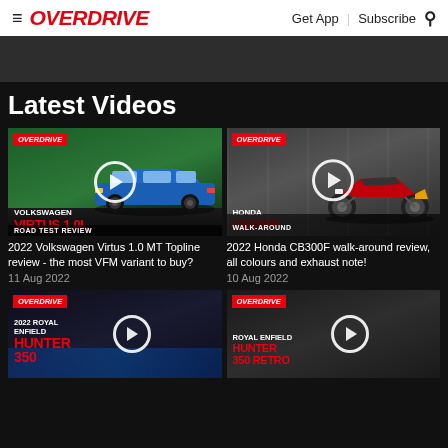OVERDRIVE | Get App | Subscribe
Latest Videos
[Figure (screenshot): Video thumbnail: Volkswagen Virtus 1.0L Road Test Review with OVERDRIVE badge and play button]
2022 Volkswagen Virtus 1.0 MT Topline review - the most VFM variant to buy?
11 Aug 2022
[Figure (screenshot): Video thumbnail: Honda CB300F Walk-Around with OVERDRIVE badge and play button]
2022 Honda CB300F walk-around review, all colours and exhaust note!
10 Aug 2022
[Figure (screenshot): Video thumbnail: 2022 Royal Enfield Hunter 350 with OVERDRIVE badge and play button]
[Figure (screenshot): Video thumbnail: Royal Enfield Hunter 350 Retro with OVERDRIVE badge and play button]